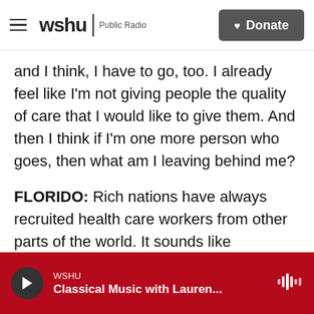wshu | Public Radio   Donate
and I think, I have to go, too. I already feel like I'm not giving people the quality of care that I would like to give them. And then I think if I'm one more person who goes, then what am I leaving behind me?
FLORIDO: Rich nations have always recruited health care workers from other parts of the world. It sounds like something that's accelerated because of the pandemic. What types of ethical considerations are they making about that push to bring more nurses to richer nations?
WSHU  Classical Music with Lauren...